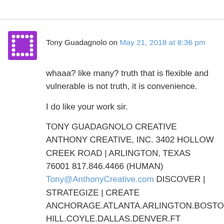Tony Guadagnolo on May 21, 2018 at 8:36 pm
whaaa? like many? truth that is flexible and vulnerable is not truth, it is convenience.

I do like your work sir.

TONY GUADAGNOLO CREATIVE ANTHONY CREATIVE, INC. 3402 HOLLOW CREEK ROAD | ARLINGTON, TEXAS 76001 817.846.4466 (HUMAN) Tony@AnthonyCreative.com DISCOVER | STRATEGIZE | CREATE ANCHORAGE.ATLANTA.ARLINGTON.BOSTON.CHAPEL HILL.COYLE.DALLAS.DENVER.FT WORTH.GUTHRIE JERUSALEM.KAZAN.LAS VEGAS.LOS